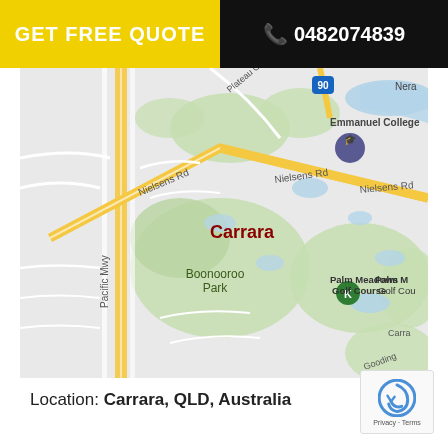GET FREE QUOTE  📞 0482074839
[Figure (map): Google Maps view of Carrara, QLD, Australia showing Nielsens Rd, Emmanuel College, Boonooroo Park, Palm Meadows Golf Course, and Pacific Mwy road network]
Location: Carrara, QLD, Australia